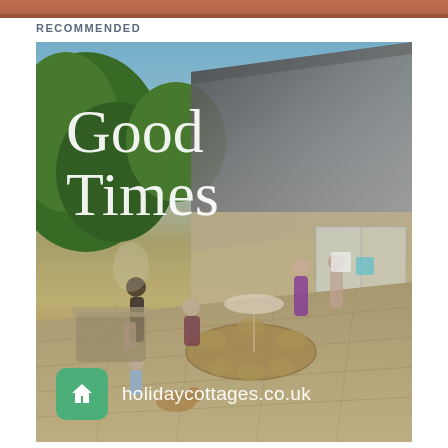[Figure (photo): Partial top strip of an image, showing warm reddish-brown tones, likely the top of a previous image/article]
RECOMMENDED
[Figure (photo): Advertisement image for holidaycottages.co.uk showing a family enjoying a sunny patio garden outside a stone cottage, with text overlay reading 'Good Times' and the website URL and logo in a green rounded square at the bottom]